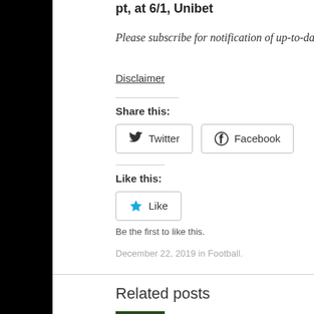pt, at 6/1, Unibet
Please subscribe for notification of up-to-date tips and news, and follow us on Twitter and Facebook.
Disclaimer
Share this:
[Figure (screenshot): Twitter and Facebook share buttons]
Like this:
[Figure (screenshot): Like button widget]
Be the first to like this.
December 22, 2019 in Football.
Related posts
Premier League: Son to shine....